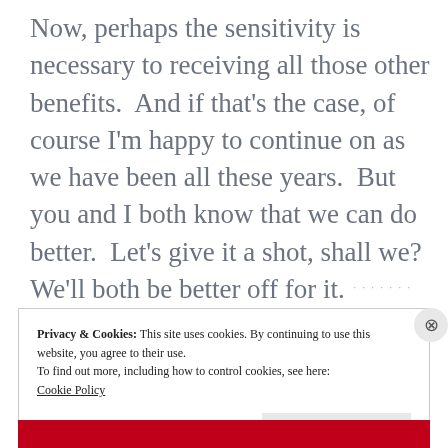Now, perhaps the sensitivity is necessary to receiving all those other benefits.  And if that's the case, of course I'm happy to continue on as we have been all these years.  But you and I both know that we can do better.  Let's give it a shot, shall we?  We'll both be better off for it.
Privacy & Cookies: This site uses cookies. By continuing to use this website, you agree to their use.
To find out more, including how to control cookies, see here:
Cookie Policy